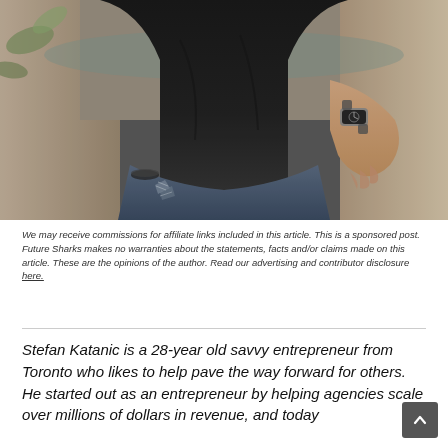[Figure (photo): Close-up photo of a person wearing a black long-sleeve shirt and ripped jeans, seated. A watch is visible on the wrist. Background shows an outdoor setting.]
We may receive commissions for affiliate links included in this article. This is a sponsored post. Future Sharks makes no warranties about the statements, facts and/or claims made on this article. These are the opinions of the author. Read our advertising and contributor disclosure here.
Stefan Katanic is a 28-year old savvy entrepreneur from Toronto who likes to help pave the way forward for others. He started out as an entrepreneur by helping agencies scale over millions of dollars in revenue, and today